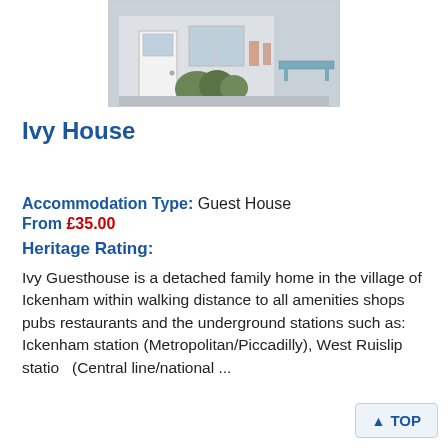[Figure (photo): Photo of Ivy House guesthouse exterior showing a white door, bushes, and house facade]
Ivy House
Accommodation Type: Guest House
From £35.00
Heritage Rating:
Ivy Guesthouse is a detached family home in the village of Ickenham within walking distance to all amenities shops pubs restaurants and the underground stations such as: Ickenham station (Metropolitan/Piccadilly), West Ruislip station (Central line/national ...